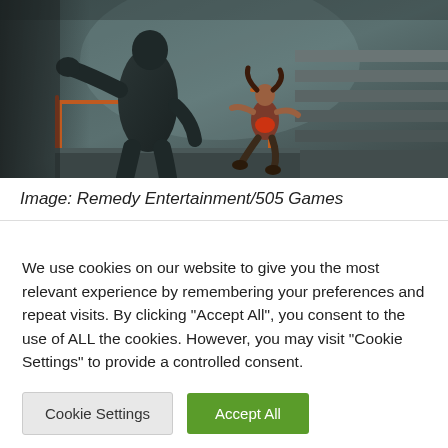[Figure (photo): Dark atmospheric scene showing a large silhouetted figure reaching toward a person in colorful clothing who appears to be jumping or falling, in an industrial stairwell setting with orange/red handrails and dim teal lighting.]
Image: Remedy Entertainment/505 Games
We use cookies on our website to give you the most relevant experience by remembering your preferences and repeat visits. By clicking "Accept All", you consent to the use of ALL the cookies. However, you may visit "Cookie Settings" to provide a controlled consent.